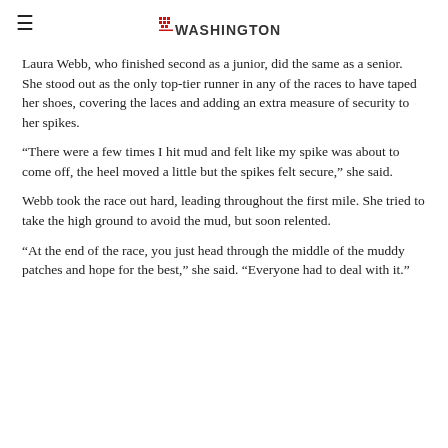Washington (logo)
Laura Webb, who finished second as a junior, did the same as a senior. She stood out as the only top-tier runner in any of the races to have taped her shoes, covering the laces and adding an extra measure of security to her spikes.
“There were a few times I hit mud and felt like my spike was about to come off, the heel moved a little but the spikes felt secure,” she said.
Webb took the race out hard, leading throughout the first mile. She tried to take the high ground to avoid the mud, but soon relented.
“At the end of the race, you just head through the middle of the muddy patches and hope for the best,” she said. “Everyone had to deal with it.”